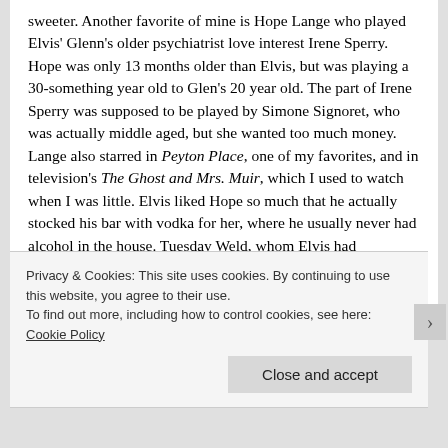sweeter. Another favorite of mine is Hope Lange who played Elvis' Glenn's older psychiatrist love interest Irene Sperry. Hope was only 13 months older than Elvis, but was playing a 30-something year old to Glen's 20 year old. The part of Irene Sperry was supposed to be played by Simone Signoret, who was actually middle aged, but she wanted too much money. Lange also starred in Peyton Place, one of my favorites, and in television's The Ghost and Mrs. Muir, which I used to watch when I was little. Elvis liked Hope so much that he actually stocked his bar with vodka for her, where he usually never had alcohol in the house. Tuesday Weld, whom Elvis had previously dated, played Elvis' Glenn's cousin Nan who was in love with him. Tuesday
Privacy & Cookies: This site uses cookies. By continuing to use this website, you agree to their use.
To find out more, including how to control cookies, see here: Cookie Policy